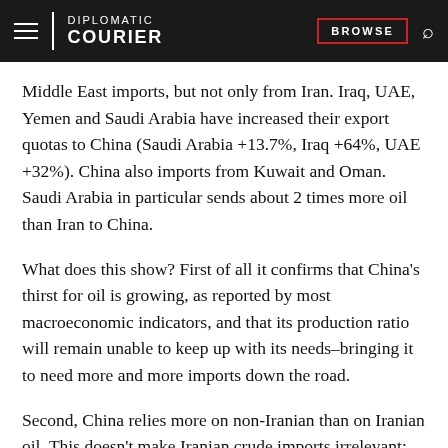DIPLOMATIC COURIER | BROWSE
Middle East imports, but not only from Iran. Iraq, UAE, Yemen and Saudi Arabia have increased their export quotas to China (Saudi Arabia +13.7%, Iraq +64%, UAE +32%). China also imports from Kuwait and Oman. Saudi Arabia in particular sends about 2 times more oil than Iran to China.
What does this show? First of all it confirms that China's thirst for oil is growing, as reported by most macroeconomic indicators, and that its production ratio will remain unable to keep up with its needs–bringing it to need more and more imports down the road.
Second, China relies more on non-Iranian than on Iranian oil. This doesn't make Iranian crude imports irrelevant: their availability, lower price and lack of